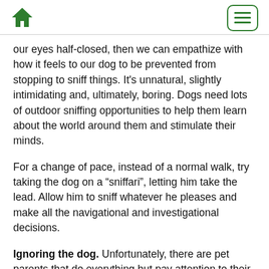Home icon and menu button
our eyes half-closed, then we can empathize with how it feels to our dog to be prevented from stopping to sniff things. It's unnatural, slightly intimidating and, ultimately, boring. Dogs need lots of outdoor sniffing opportunities to help them learn about the world around them and stimulate their minds.
For a change of pace, instead of a normal walk, try taking the dog on a “sniffari”, letting him take the lead. Allow him to sniff whatever he pleases and make all the navigational and investigational decisions.
Ignoring the dog. Unfortunately, there are pet parents that do everything but pay attention to their dogs during walks. The daily activity becomes so routine that they do it without giving much thought to the furry fellow at the other end of the leash. This is a bad habit